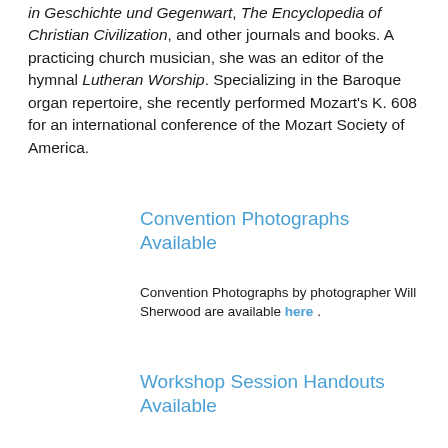in Geschichte und Gegenwart, The Encyclopedia of Christian Civilization, and other journals and books. A practicing church musician, she was an editor of the hymnal Lutheran Worship. Specializing in the Baroque organ repertoire, she recently performed Mozart's K. 608 for an international conference of the Mozart Society of America.
Convention Photographs Available
Convention Photographs by photographer Will Sherwood are available here .
Workshop Session Handouts Available
Handouts received for Workshops/Scholarly Research Papers are available here .
Make a Gift
Support our Convention